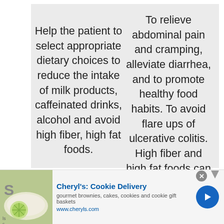Help the patient to select appropriate dietary choices to reduce the intake of milk products, caffeinated drinks, alcohol and avoid high fiber, high fat foods.
To relieve abdominal pain and cramping, alleviate diarrhea, and to promote healthy food habits. To avoid flare ups of ulcerative colitis. High fiber and high fat foods can cause irritation in the intestines.
Start the patient on a nothing by mouth
[Figure (other): Advertisement bar: Cheryl's Cookie Delivery - gourmet brownies, cakes, cookies and cookie gift baskets, www.cheryls.com, with food image on left and arrow button on right]